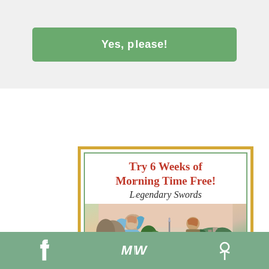Yes, please!
[Figure (illustration): Book promotional card with gold and green border. Title reads 'Try 6 Weeks of Morning Time Free!' in red, subtitle 'Legendary Swords' in dark italic, with a medieval-style painting showing a woman in blue robes and a knight standing near a sword.]
f  MW  P